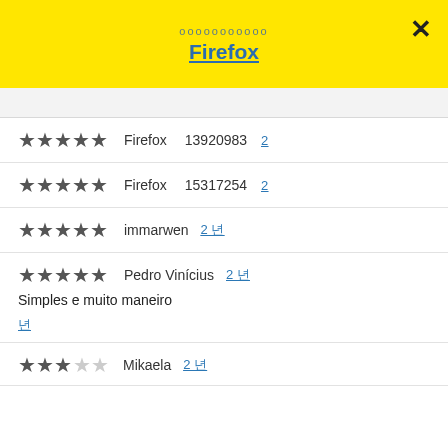ооооооооооо Firefox
★★★★★ Firefox 13920983 2
★★★★★ Firefox 15317254 2
★★★★★ immarwen 2 년
★★★★★ Pedro Vinícius 2 년 Simples e muito maneiro
★★★ Mikaela 2 년